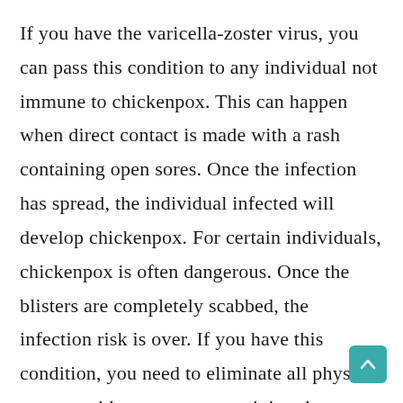If you have the varicella-zoster virus, you can pass this condition to any individual not immune to chickenpox. This can happen when direct contact is made with a rash containing open sores. Once the infection has spread, the individual infected will develop chickenpox. For certain individuals, chickenpox is often dangerous. Once the blisters are completely scabbed, the infection risk is over. If you have this condition, you need to eliminate all physical contact with anyone not receiving the chickenpox vaccine or having come down with chickenpox. The groups at the highest risk are newborn babies, pregnant women, and individuals with a weakened immune system.